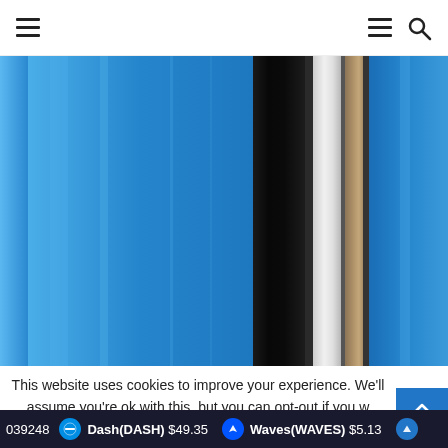Navigation header with hamburger menu icons and search icon
[Figure (illustration): Abstract vertical color bars — wide blue bands on left and right, a thick black bar slightly left of center, a white bar in the center, and a tan/gold vertical bar, creating a modern abstract stripe composition]
This website uses cookies to improve your experience. We'll assume you're ok with this, but you can opt-out if you w
039248   Dash(DASH) $49.35   Waves(WAVES) $5.13